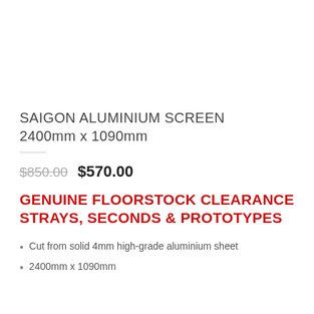SAIGON ALUMINIUM SCREEN 2400mm x 1090mm
$850.00  $570.00
GENUINE FLOORSTOCK CLEARANCE STRAYS, SECONDS & PROTOTYPES
Cut from solid 4mm high-grade aluminium sheet
2400mm x 1090mm